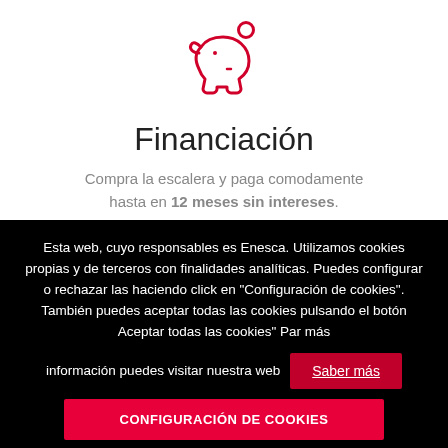[Figure (illustration): Red outline piggy bank icon with a coin above it]
Financiación
Compra la escalera y paga comodamente hasta en 12 meses sin intereses.
Esta web, cuyo responsables es Enesca. Utilizamos cookies propias y de terceros con finalidades analíticas. Puedes configurar o rechazar las haciendo click en "Configuración de cookies". También puedes aceptar todas las cookies pulsando el botón Aceptar todas las cookies" Par más información puedes visitar nuestra web
Saber más
CONFIGURACIÓN DE COOKIES
ACEPTAR TODAS LAS COOKIES